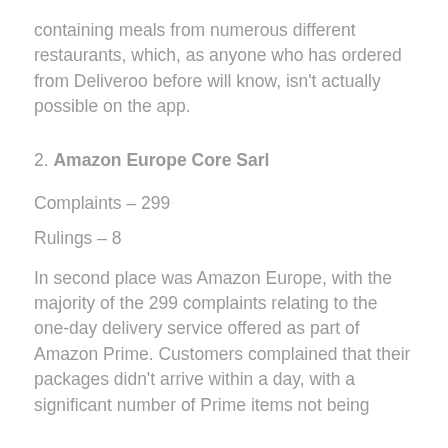containing meals from numerous different restaurants, which, as anyone who has ordered from Deliveroo before will know, isn't actually possible on the app.
2. Amazon Europe Core Sarl
Complaints – 299
Rulings – 8
In second place was Amazon Europe, with the majority of the 299 complaints relating to the one-day delivery service offered as part of Amazon Prime. Customers complained that their packages didn't arrive within a day, with a significant number of Prime items not being